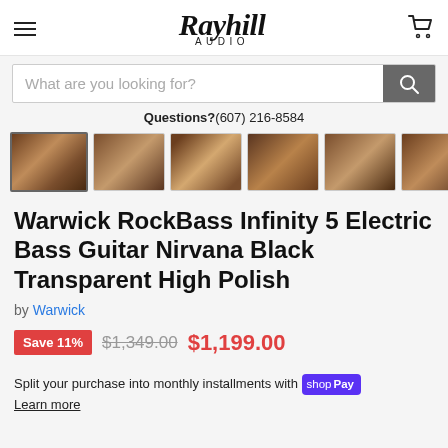Rayhill Audio — hamburger menu, logo, cart
What are you looking for?
Questions?(607) 216-8584
[Figure (photo): Row of product thumbnail images showing the bass guitar from various angles]
Warwick RockBass Infinity 5 Electric Bass Guitar Nirvana Black Transparent High Polish
by Warwick
Save 11% $1,349.00 $1,199.00
Split your purchase into monthly installments with Shop Pay Learn more